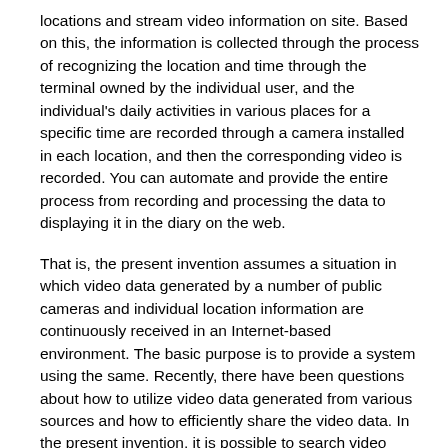locations and stream video information on site. Based on this, the information is collected through the process of recognizing the location and time through the terminal owned by the individual user, and the individual's daily activities in various places for a specific time are recorded through a camera installed in each location, and then the corresponding video is recorded. You can automate and provide the entire process from recording and processing the data to displaying it in the diary on the web.
That is, the present invention assumes a situation in which video data generated by a number of public cameras and individual location information are continuously received in an Internet-based environment. The basic purpose is to provide a system using the same. Recently, there have been questions about how to utilize video data generated from various sources and how to efficiently share the video data. In the present invention, it is possible to search video data according to time and location, and also, These problems can be solved by inserting relevant additional information into the video data and thereby facilitating the retrieval of the video data.